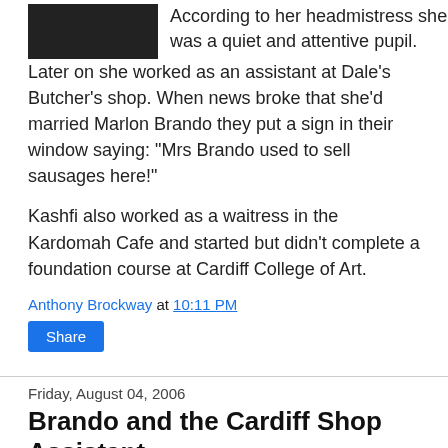[Figure (photo): Dark/black photo at top left]
According to her headmistress she was a quiet and attentive pupil.
Later on she worked as an assistant at Dale's Butcher's shop. When news broke that she'd married Marlon Brando they put a sign in their window saying: "Mrs Brando used to sell sausages here!"
Kashfi also worked as a waitress in the Kardomah Cafe and started but didn't complete a foundation course at Cardiff College of Art.
Anthony Brockway at 10:11 PM
Share
Friday, August 04, 2006
Brando and the Cardiff Shop Assistant
[Figure (photo): Grayscale photo at bottom left]
In 1957 tinsel town's